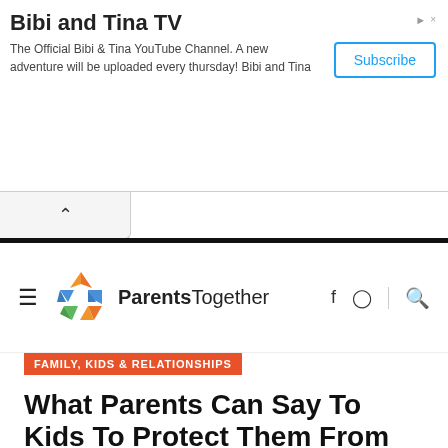[Figure (screenshot): Advertisement banner for Bibi and Tina TV YouTube channel with Subscribe button]
[Figure (logo): ParentsTogether logo with colorful pinwheel icon]
FAMILY, KIDS & RELATIONSHIPS
What Parents Can Say To Kids To Protect Them From Online Grooming